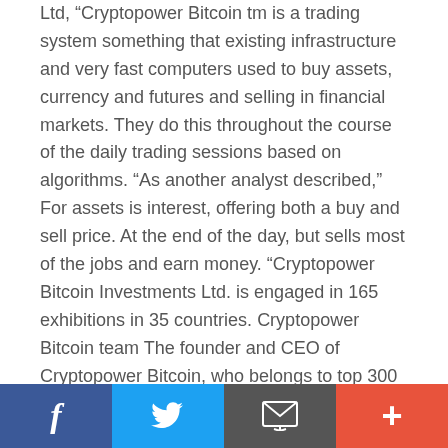Ltd, “Cryptopower Bitcoin tm is a trading system something that existing infrastructure and very fast computers used to buy assets, currency and futures and selling in financial markets. They do this throughout the course of the daily trading sessions based on algorithms. “As another analyst described,” For assets is interest, offering both a buy and sell price. At the end of the day, but sells most of the jobs and earn money. “Cryptopower Bitcoin Investments Ltd. is engaged in 165 exhibitions in 35 countries. Cryptopower Bitcoin team The founder and CEO of Cryptopower Bitcoin, who belongs to top 300 list of billionaires by “Forbes” magazine. William R. Johnson, the CEO of the Stock Exchange of New York (1996-2016), is also involved in Cryptopower Bitcoin Software. Although in the overall daily calculations, the trading machine never loses, a small number of speed transactions it performs are
Facebook | Twitter | Email | +